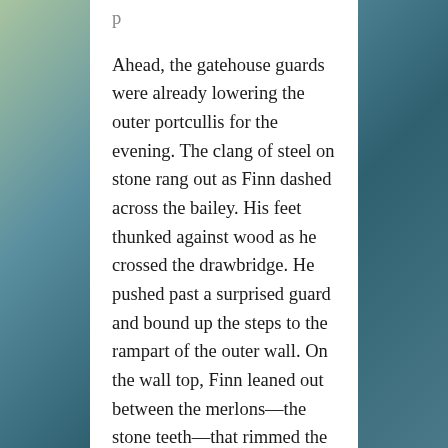Ahead, the gatehouse guards were already lowering the outer portcullis for the evening. The clang of steel on stone rang out as Finn dashed across the bailey. His feet thunked against wood as he crossed the drawbridge. He pushed past a surprised guard and bound up the steps to the rampart of the outer wall. On the wall top, Finn leaned out between the merlons—the stone teeth—that rimmed the top of the outer wall.
“I hate it when he does this.” He